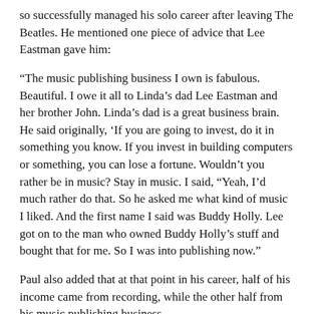so successfully managed his solo career after leaving The Beatles. He mentioned one piece of advice that Lee Eastman gave him:
“The music publishing business I own is fabulous. Beautiful. I owe it all to Linda’s dad Lee Eastman and her brother John. Linda’s dad is a great business brain. He said originally, ‘If you are going to invest, do it in something you know. If you invest in building computers or something, you can lose a fortune. Wouldn’t you rather be in music? Stay in music. I said, “Yeah, I’d much rather do that. So he asked me what kind of music I liked. And the first name I said was Buddy Holly. Lee got on to the man who owned Buddy Holly’s stuff and bought that for me. So I was into publishing now.”
Paul also added that at that point in his career, half of his income came from recording, while the other half from his music publishing business.